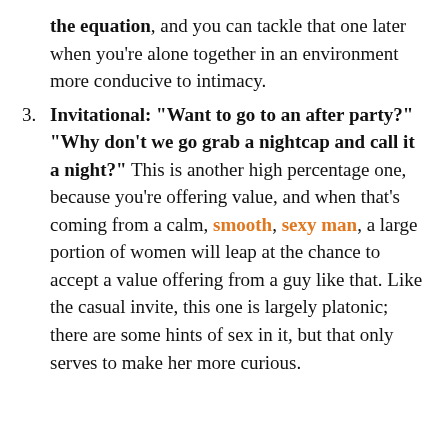the equation, and you can tackle that one later when you're alone together in an environment more conducive to intimacy.
Invitational: "Want to go to an after party?" "Why don't we go grab a nightcap and call it a night?" This is another high percentage one, because you're offering value, and when that's coming from a calm, smooth, sexy man, a large portion of women will leap at the chance to accept a value offering from a guy like that. Like the casual invite, this one is largely platonic; there are some hints of sex in it, but that only serves to make her more curious.